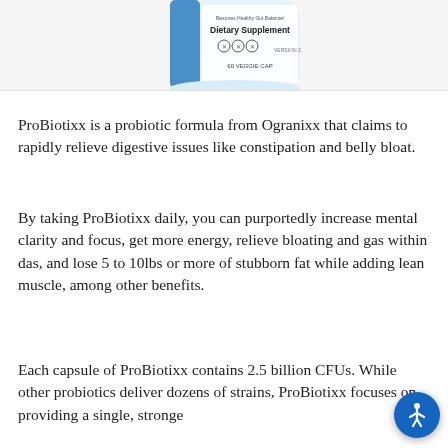[Figure (photo): Partial view of a ProBiotixx dietary supplement bottle. Label reads 'Restores Healthy Gut Balance! Dietary Supplement' with icons and '60 VEGGIE CAP'. Blue and white bottle partially visible.]
ProBiotixx is a probiotic formula from Ogranixx that claims to rapidly relieve digestive issues like constipation and belly bloat.
By taking ProBiotixx daily, you can purportedly increase mental clarity and focus, get more energy, relieve bloating and gas within das, and lose 5 to 10lbs or more of stubborn fat while adding lean muscle, among other benefits.
Each capsule of ProBiotixx contains 2.5 billion CFUs. While other probiotics deliver dozens of strains, ProBiotixx focuses on providing a single, strong dose of...